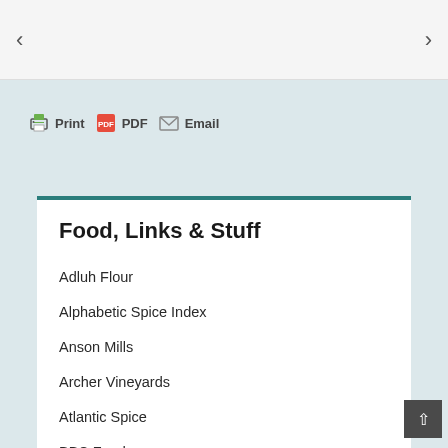< >
[Figure (infographic): Toolbar with Print, PDF, and Email icons and labels]
Food, Links & Stuff
Adluh Flour
Alphabetic Spice Index
Anson Mills
Archer Vineyards
Atlantic Spice
BBC Food